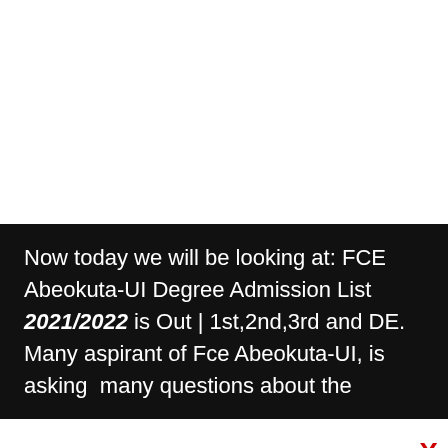Now today we will be looking at: FCE Abeokuta-UI Degree Admission List 2021/2022 is Out | 1st,2nd,3rd and DE. Many aspirant of Fce Abeokuta-UI, is asking  many questions about the